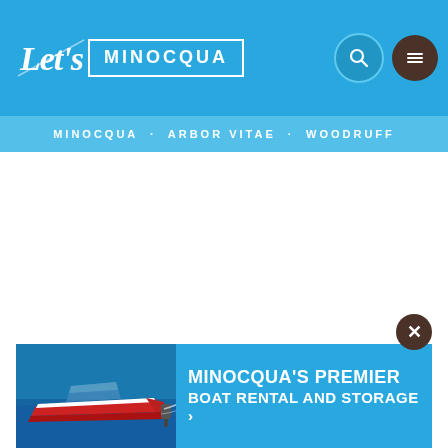Let's MINOCQUA — MINOCQUA · ARBOR VITAE · WOODRUFF
[Figure (screenshot): White blank main content area of a website]
[Figure (infographic): Advertisement banner for Minocqua's premier boat rental and storage featuring a red and white speedboat image on water]